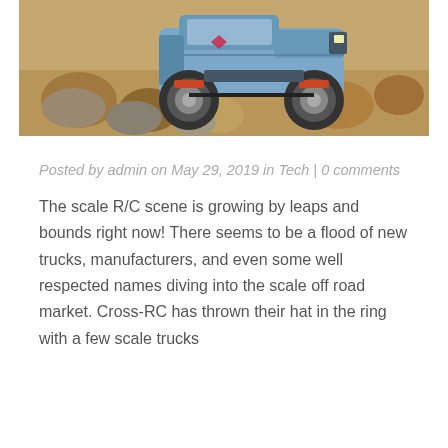[Figure (photo): A light blue RC crawler truck (scale R/C vehicle) navigating over rocks and dirt terrain outdoors]
Posted by admin on May 29, 2019 in Tech | 0 comments
The scale R/C scene is growing by leaps and bounds right now! There seems to be a flood of new trucks, manufacturers, and even some well respected names diving into the scale off road market. Cross-RC has thrown their hat in the ring with a few scale trucks